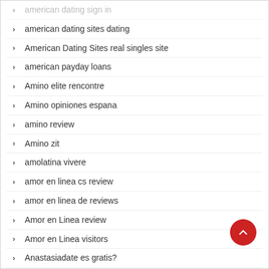american dating sign in
american dating sites dating
American Dating Sites real singles site
american payday loans
Amino elite rencontre
Amino opiniones espana
amino review
Amino zit
amolatina vivere
amor en linea cs review
amor en linea de reviews
Amor en Linea review
Amor en Linea visitors
Anastasiadate es gratis?
anastasiadate online dating
Anastasiadate site de rencontres